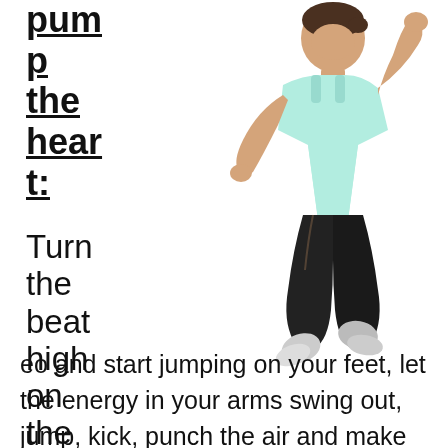pump the heart:
[Figure (photo): A woman in a light blue tank top and black capri pants jumping energetically with arms raised and legs bent, smiling widely, on a white background.]
Turn the beat high on the ster eo and start jumping on your feet, let the energy in your arms swing out, jump, kick, punch the air and make your heart beat faster. This is the greatest...